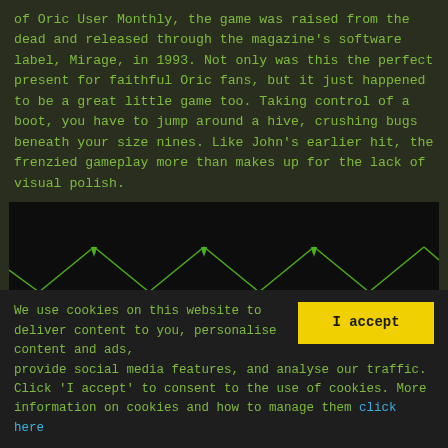of Oric User Monthly, the game was raised from the dead and released through the magazine's software label, Mirage, in 1993. Not only was this the perfect present for faithful Oric fans, but it just happened to be a great little game too. Taking control of a boot, you have to jump around a hive, crushing bugs beneath your size nines. Like John's earlier hit, the frenzied gameplay more than makes up for the lack of visual polish.
[Figure (screenshot): Retro game screenshot showing a dark background with green wireframe diamond/hive shapes arranged in a grid pattern. The shapes appear to be made of diagonal lines forming diamond/rhombus forms with dripping or jagged edges at intersection points, rendered in bright green on black in an Oric computer graphics style.]
We use cookies on this website to deliver content to you, personalise content and ads, provide social media features, and analyse our traffic. Click 'I accept' to consent to the use of cookies. More information on cookies and how to manage them click here